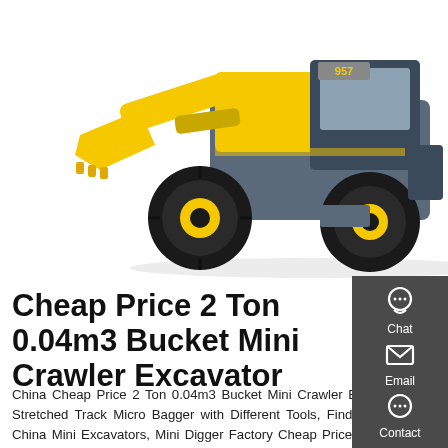[Figure (photo): Yellow and grey wheel loader / front loader machine (model 957) on white background, showing large front bucket and four large black tires]
Cheap Price 2 Ton 0.04m3 Bucket Mini Crawler Excavator
China Cheap Price 2 Ton 0.04m3 Bucket Mini Crawler Excavator with Stretched Track Micro Bagger with Different Tools, Find details about China Mini Excavators, Mini Digger Factory Cheap Price for Sale from Cheap Price 2 Ton 0.04m3 Bucket Mini Crawler Excavator with Stretched Track Micro Bagger with Different Tools - Jining VOTE Machinery